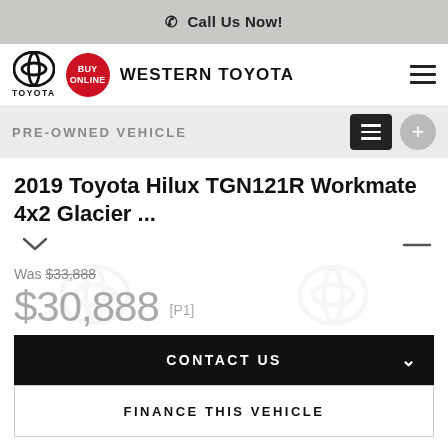Call Us Now!
[Figure (logo): Toyota logo (oval/circle mark) with TOYOTA text and BUY ONLINE red badge, followed by WESTERN TOYOTA dealer name and hamburger menu icon]
PRE-OWNED VEHICLE
2019 Toyota Hilux TGN121R Workmate 4x2 Glacier ...
Was $33,888
$30,888 [P1]
CONTACT US
FINANCE THIS VEHICLE